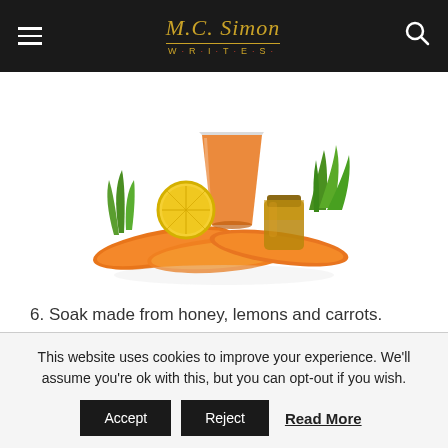M.C. Simon WRITES
[Figure (photo): Photo of carrots, a glass of carrot juice, a small jar of honey, and a lemon slice arranged together on a white background.]
6. Soak made from honey, lemons and carrots. Ingredients:
28 oz (0.8 kg) honey
This website uses cookies to improve your experience. We'll assume you're ok with this, but you can opt-out if you wish.
Accept | Reject | Read More